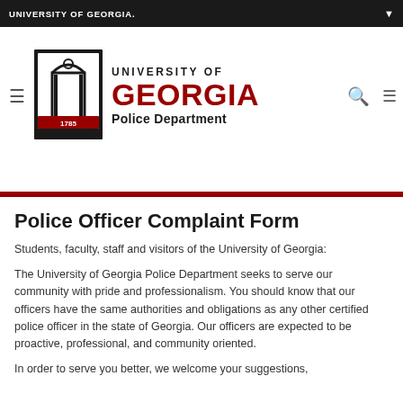UNIVERSITY OF GEORGIA.
[Figure (logo): University of Georgia Police Department logo with seal showing arch and 1785, with text UNIVERSITY OF GEORGIA in black and GEORGIA in red, and Police Department below]
Police Officer Complaint Form
Students, faculty, staff and visitors of the University of Georgia:
The University of Georgia Police Department seeks to serve our community with pride and professionalism. You should know that our officers have the same authorities and obligations as any other certified police officer in the state of Georgia. Our officers are expected to be proactive, professional, and community oriented.
In order to serve you better, we welcome your suggestions,